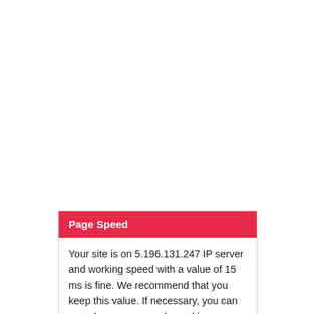Page Speed
Your site is on 5.196.131.247 IP server and working speed with a value of 15 ms is fine. We recommend that you keep this value. If necessary, you can speed up even more by making new studies.